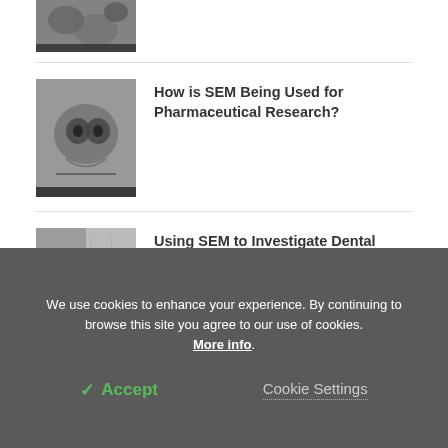[Figure (photo): Partial SEM microscopy image visible at top of page]
[Figure (photo): SEM microscopy image showing cell structures, grayscale]
How is SEM Being Used for Pharmaceutical Research?
[Figure (photo): SEM microscopy image showing dental biomaterial cross-section, grayscale]
Using SEM to Investigate Dental Biomaterials
See all content from Thermo Fisher Scientific Phenom
We use cookies to enhance your experience. By continuing to browse this site you agree to our use of cookies. More info.
✓ Accept
Cookie Settings